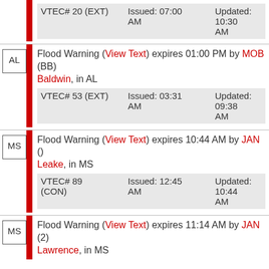| (partial top) | VTEC# 20 (EXT) | Issued: 07:00 AM | Updated: 10:30 AM |
| AL | Flood Warning (View Text) expires 01:00 PM by MOB (BB)
Baldwin, in AL | VTEC# 53 (EXT) | Issued: 03:31 AM | Updated: 09:38 AM |
| MS | Flood Warning (View Text) expires 10:44 AM by JAN ()
Leake, in MS | VTEC# 89 (CON) | Issued: 12:45 AM | Updated: 10:44 AM |
| MS | Flood Warning (View Text) expires 11:14 AM by JAN (2)
Lawrence, in MS |  |  |  |